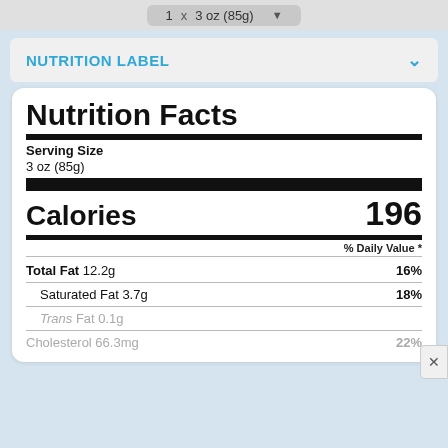1 x 3 oz (85g)
NUTRITION LABEL
Nutrition Facts
Serving Size
3 oz (85g)
Calories 196
% Daily Value *
| Nutrient | Amount | % Daily Value |
| --- | --- | --- |
| Total Fat 12.2g |  | 16% |
| Saturated Fat 3.7g |  | 18% |
| Trans Fat 0.1g |  |  |
| Cholesterol 66.3mg |  | 22% |